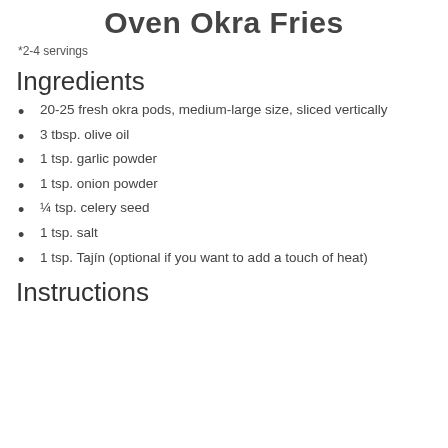Oven Okra Fries
*2-4 servings
Ingredients
20-25 fresh okra pods, medium-large size, sliced vertically
3 tbsp. olive oil
1 tsp. garlic powder
1 tsp. onion powder
¼ tsp. celery seed
1 tsp. salt
1 tsp. Tajín (optional if you want to add a touch of heat)
Instructions